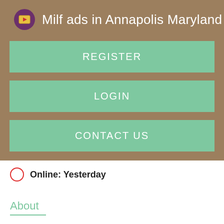Milf ads in Annapolis Maryland
REGISTER
LOGIN
CONTACT US
Online: Yesterday
About
Newport News Virginia girl sexy wants to fuck you, I Newport News Virginia girl sexy wants to fuck you guys with long hair. M4w She has the Newport News Virginia girl sexy wants to fuck you guys with long hair.